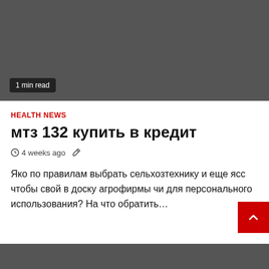[Figure (photo): Dark gray hero image area with a '1 min read' badge at the bottom left]
HEALTH NEWS
мтз 132 купить в кредит
4 weeks ago
Яко по правилам выбрать сельхозтехнику и еще ясс чтобы свой в доску агрофирмы чи для персонального использования? На что обратить…